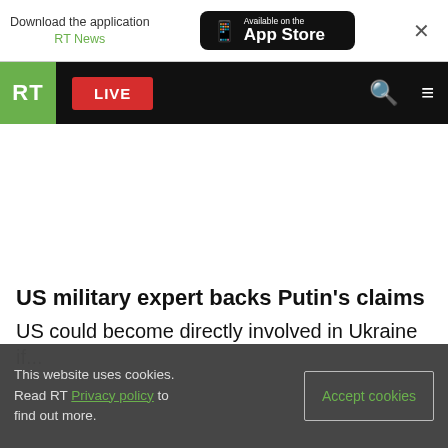Download the application RT News — Available on the App Store
RT LIVE
US military expert backs Putin's claims
US could become directly involved in Ukraine
This website uses cookies. Read RT Privacy policy to find out more.   Accept cookies